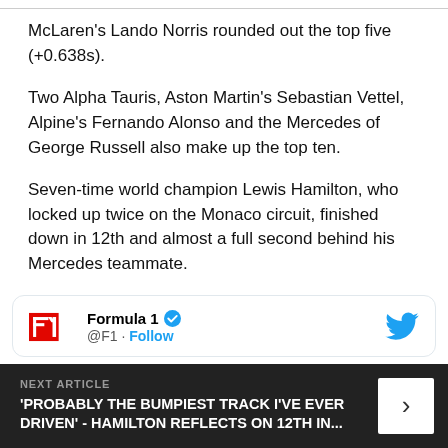McLaren's Lando Norris rounded out the top five (+0.638s).
Two Alpha Tauris, Aston Martin's Sebastian Vettel, Alpine's Fernando Alonso and the Mercedes of George Russell also make up the top ten.
Seven-time world champion Lewis Hamilton, who locked up twice on the Monaco circuit, finished down in 12th and almost a full second behind his Mercedes teammate.
[Figure (screenshot): Formula 1 Twitter/X account card showing F1 logo, @F1 handle with verified badge and Follow link, and Twitter bird icon]
NEXT ARTICLE
'PROBABLY THE BUMPIEST TRACK I'VE EVER DRIVEN' - HAMILTON REFLECTS ON 12TH IN...